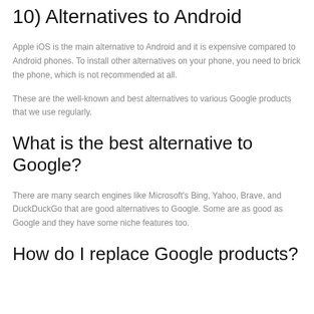10) Alternatives to Android
Apple iOS is the main alternative to Android and it is expensive compared to Android phones. To install other alternatives on your phone, you need to brick the phone, which is not recommended at all.
These are the well-known and best alternatives to various Google products that we use regularly.
What is the best alternative to Google?
There are many search engines like Microsoft's Bing, Yahoo, Brave, and DuckDuckGo that are good alternatives to Google. Some are as good as Google and they have some niche features too.
How do I replace Google products?